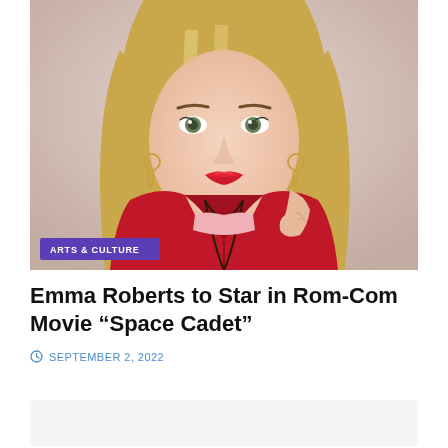[Figure (photo): Portrait photo of a blonde woman with red lips wearing a red jacket, looking sideways, on a light pink/beige background. An 'ARTS & CULTURE' badge is overlaid in the lower left of the photo.]
Emma Roberts to Star in Rom-Com Movie “Space Cadet”
SEPTEMBER 2, 2022